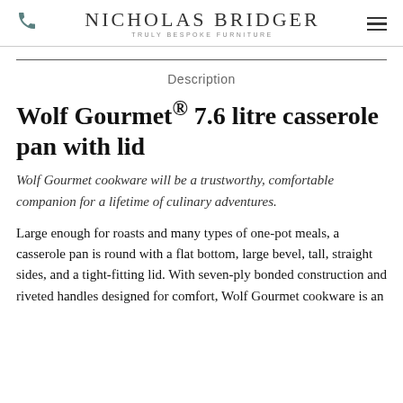Nicholas Bridger – Truly Bespoke Furniture
Description
Wolf Gourmet® 7.6 litre casserole pan with lid
Wolf Gourmet cookware will be a trustworthy, comfortable companion for a lifetime of culinary adventures.
Large enough for roasts and many types of one-pot meals, a casserole pan is round with a flat bottom, large bevel, tall, straight sides, and a tight-fitting lid. With seven-ply bonded construction and riveted handles designed for comfort, Wolf Gourmet cookware is an